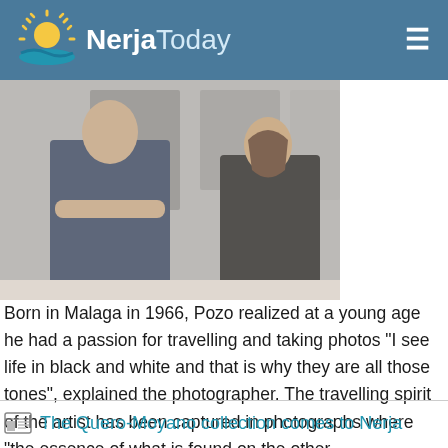NerjaToday
[Figure (photo): Two people standing in front of black and white photographs on a gallery wall. A man in a navy blazer with arms crossed on the left, and a woman in black on the right.]
Born in Malaga in 1966, Pozo realized at a young age he had a passion for travelling and taking photos “I see life in black and white and that is why they are all those tones”, explained the photographer. The travelling spirit of the artist has been captured in photographs where “the essence of what is found on the other ...
The Quero-Moyano collection comes to Nerja